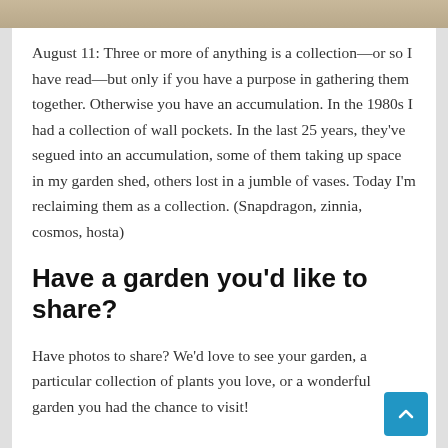[Figure (photo): Top image strip showing a garden or outdoor scene in warm tan/brown tones]
August 11: Three or more of anything is a collection—or so I have read—but only if you have a purpose in gathering them together. Otherwise you have an accumulation. In the 1980s I had a collection of wall pockets. In the last 25 years, they've segued into an accumulation, some of them taking up space in my garden shed, others lost in a jumble of vases. Today I'm reclaiming them as a collection. (Snapdragon, zinnia, cosmos, hosta)
Have a garden you'd like to share?
Have photos to share? We'd love to see your garden, a particular collection of plants you love, or a wonderful garden you had the chance to visit!